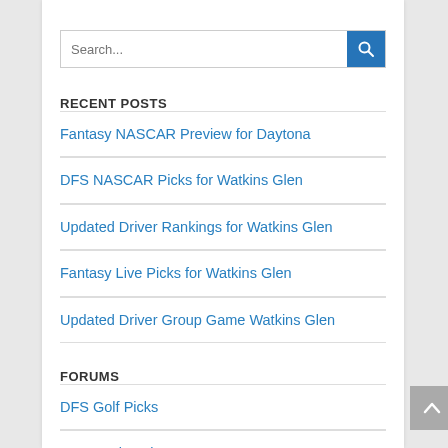[Figure (screenshot): Search bar with text input placeholder 'Search...' and a blue search button with magnifying glass icon]
RECENT POSTS
Fantasy NASCAR Preview for Daytona
DFS NASCAR Picks for Watkins Glen
Updated Driver Rankings for Watkins Glen
Fantasy Live Picks for Watkins Glen
Updated Driver Group Game Watkins Glen
FORUMS
DFS Golf Picks
DFS Racing Tips